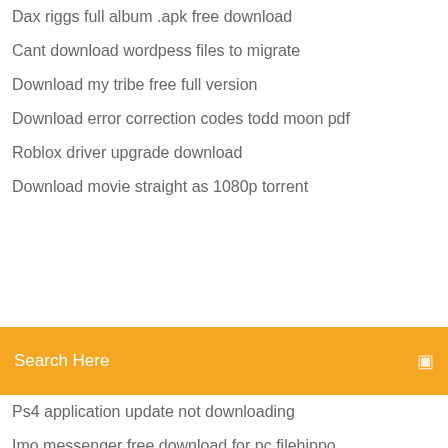Dax riggs full album .apk free download
Cant download wordpess files to migrate
Download my tribe free full version
Download error correction codes todd moon pdf
Roblox driver upgrade download
Download movie straight as 1080p torrent
[Figure (screenshot): Orange search bar with text 'Search Here' and a small icon on the right]
Ps4 application update not downloading
Imo messenger free download for pc filehippo
Tracks one act play pdf download
Ar 15 manuals pdf download
Barron pdf free download
Logitech c525 download driver
Skyrim legendary edtion save files pc download
Droidcam audio driver download
How to download minecraft pe worlds to mac
Video download converter uninstall
The incredibles 1 torrent download